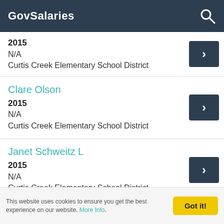GovSalaries
2015
N/A
Curtis Creek Elementary School District
Clare Olson
2015
N/A
Curtis Creek Elementary School District
Janet Schweitz L
2015
N/A
Curtis Creek Elementary School District
This website uses cookies to ensure you get the best experience on our website. More Info.